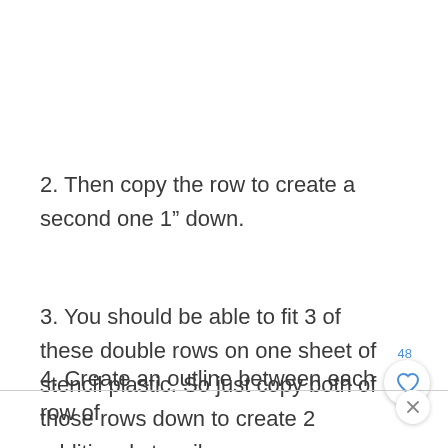2. Then copy the row to create a second one 1” down.
3. You should be able to fit 3 of these double rows on one sheet of stencil plastic. So just copy both of those rows down to create 2 additional stencil rows.
4. Create an outline between each row of